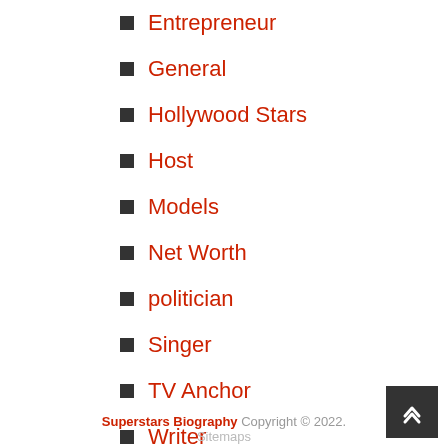Entrepreneur
General
Hollywood Stars
Host
Models
Net Worth
politician
Singer
TV Anchor
Writer
Superstars Biography Copyright © 2022. Sitemaps